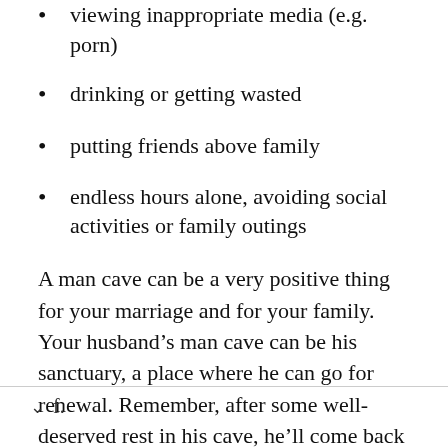viewing inappropriate media (e.g. porn)
drinking or getting wasted
putting friends above family
endless hours alone, avoiding social activities or family outings
A man cave can be a very positive thing for your marriage and for your family. Your husband’s man cave can be his sanctuary, a place where he can go for renewal. Remember, after some well-deserved rest in his cave, he’ll come back to you regenerated, renewed and ready to be his best